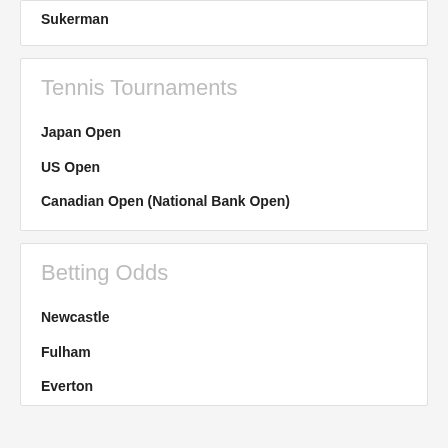Sukerman
Tennis Tournaments
Japan Open
US Open
Canadian Open (National Bank Open)
Betting Odds
Newcastle
Fulham
Everton